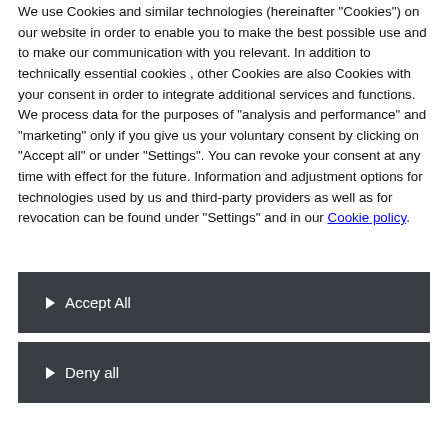We use Cookies and similar technologies (hereinafter "Cookies") on our website in order to enable you to make the best possible use and to make our communication with you relevant. In addition to technically essential cookies , other Cookies are also Cookies with your consent in order to integrate additional services and functions. We process data for the purposes of "analysis and performance" and "marketing" only if you give us your voluntary consent by clicking on "Accept all" or under "Settings". You can revoke your consent at any time with effect for the future. Information and adjustment options for technologies used by us and third-party providers as well as for revocation can be found under "Settings" and in our Cookie policy.
Accept All
Deny all
Settings
power soon. My initial impressions today were also very good and it